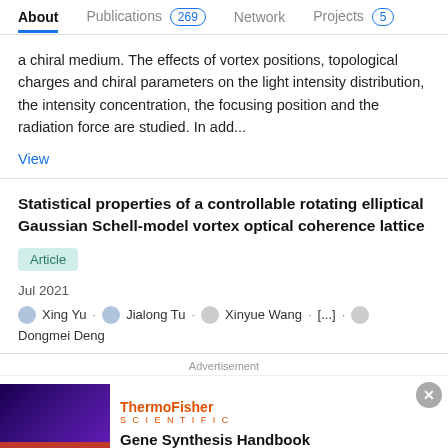About  Publications 269  Network  Projects 5
a chiral medium. The effects of vortex positions, topological charges and chiral parameters on the light intensity distribution, the intensity concentration, the focusing position and the radiation force are studied. In add...
View
Statistical properties of a controllable rotating elliptical Gaussian Schell-model vortex optical coherence lattice
Article
Jul 2021
Xing Yu · Jialong Tu · Xinyue Wang · [...] · Dongmei Deng
Advertisement
[Figure (other): ThermoFisher Scientific advertisement with purple background image and Gene Synthesis Handbook text]